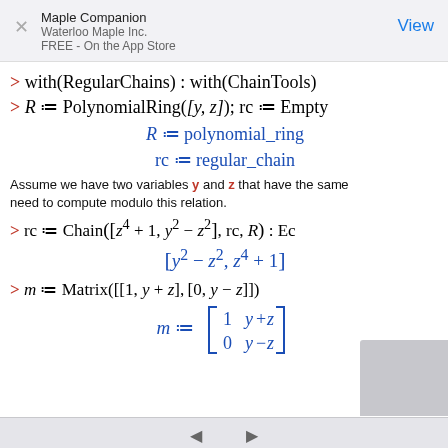Maple Companion
Waterloo Maple Inc.
FREE - On the App Store
View
> with(RegularChains) : with(ChainTools)
> R := PolynomialRing([y, z]); rc := Empty
Assume we have two variables y and z that have the same need to compute modulo this relation.